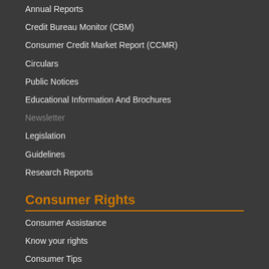Annual Reports
Credit Bureau Monitor (CBM)
Consumer Credit Market Report (CCMR)
Circulars
Public Notices
Educational Information And Brochures
Newsletter
Legislation
Guidelines
Research Reports
Consumer Rights
Consumer Assistance
Know your rights
Consumer Tips
Challenge Credit Record